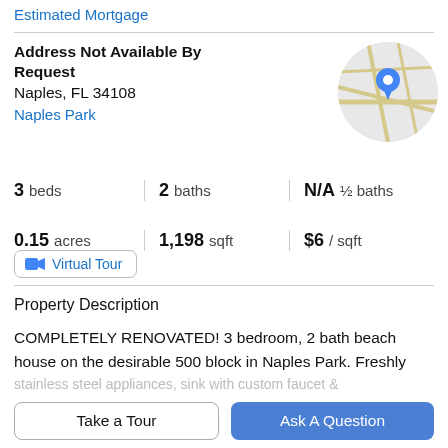Estimated Mortgage
Address Not Available By Request
Naples, FL 34108
Naples Park
[Figure (map): Circular cropped map thumbnail showing street map with blue location pin marker]
3 beds | 2 baths | N/A ½ baths | 0.15 acres | 1,198 sqft | $6 / sqft
Virtual Tour
Property Description
COMPLETELY RENOVATED! 3 bedroom, 2 bath beach house on the desirable 500 block in Naples Park. Freshly
stainless steel appliances, sink with custom faucet &